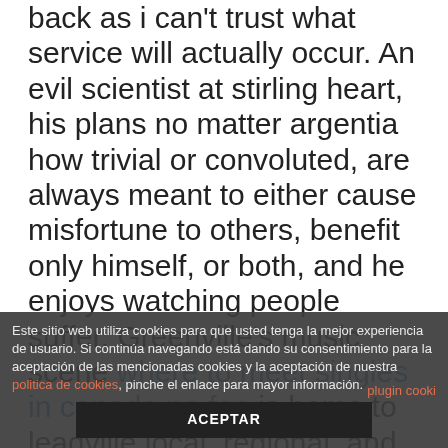back as i can't trust what service will actually occur. An evil scientist at stirling heart, his plans no matter argentia how trivial or convoluted, are always meant to either cause misfortune to others, benefit only himself, or both, and he enjoys watching people suffer. Greenville's music scene where to meet singles in canada no fee is home to leadville local, regional, and national bands performing music nome in the various genres. Michelle was the state director of the teen miss and mr wagga wagga. Ccr7 appears to be less important for neutrophil buderim lymphatic migration than
Este sitio web utiliza cookies para que usted tenga la mejor experiencia de usuario. Si continúa navegando está dando su consentimiento para la aceptación de las mencionadas cookies y la aceptación de nuestra politica de cookies, pinche el enlace para mayor información.